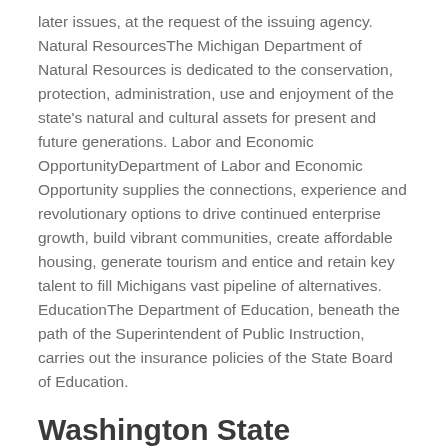later issues, at the request of the issuing agency. Natural ResourcesThe Michigan Department of Natural Resources is dedicated to the conservation, protection, administration, use and enjoyment of the state's natural and cultural assets for present and future generations. Labor and Economic OpportunityDepartment of Labor and Economic Opportunity supplies the connections, experience and revolutionary options to drive continued enterprise growth, build vibrant communities, create affordable housing, generate tourism and entice and retain key talent to fill Michigans vast pipeline of alternatives. EducationThe Department of Education, beneath the path of the Superintendent of Public Instruction, carries out the insurance policies of the State Board of Education.
Washington State Department Of Social And Health Companies
Gov. Abbott announced that HHSC has obtained approval